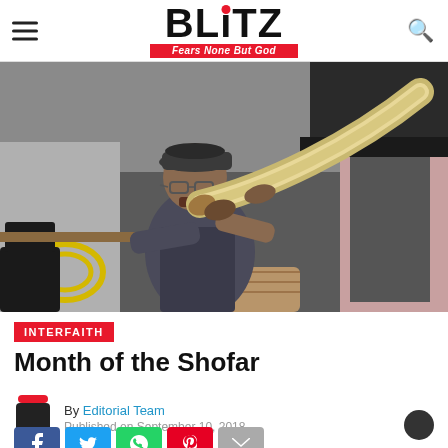BLITZ — Fears None But God
[Figure (photo): A man wearing a flat cap and glasses blowing a large shofar (ram's horn) in an industrial workshop setting. The horn is very long and curves upward. Background shows workshop equipment and tools.]
INTERFAITH
Month of the Shofar
By Editorial Team
Published on September 10, 2018